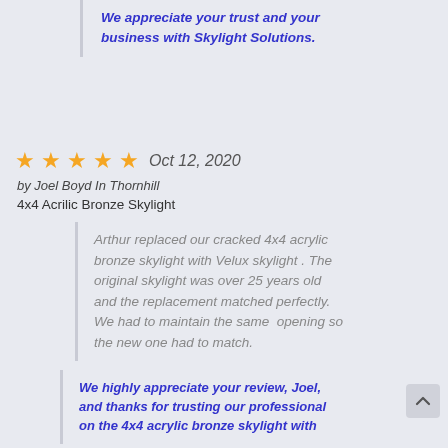We appreciate your trust and your business with Skylight Solutions.
★★★★★  Oct 12, 2020
by Joel Boyd In Thornhill
4x4 Acrilic Bronze Skylight
Arthur replaced our cracked 4x4 acrylic bronze skylight with Velux skylight . The original skylight was over 25 years old and the replacement matched perfectly. We had to maintain the same  opening so the new one had to match.
We highly appreciate your review, Joel, and thanks for trusting our professional on the 4x4 acrylic bronze skylight with